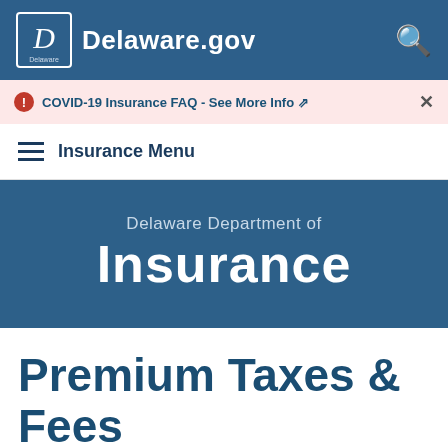Delaware.gov
COVID-19 Insurance FAQ - See More Info
Insurance Menu
[Figure (logo): Delaware Department of Insurance logo banner with text 'Delaware Department of Insurance']
Premium Taxes & Fees